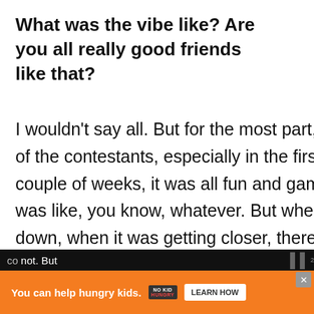What was the vibe like? Are you all really good friends like that?
I wouldn't say all. But for the most part, most of the contestants, especially in the first couple of weeks, it was all fun and games. It was like, you know, whatever. But when it go down, when it was getting closer, there was little bit of tension, a little bit. It's tough, because you don't want to go home same time you've got to cheer on every co... not. But
[Figure (screenshot): UI overlays: like button (blue circle with heart icon, count 1), share button (grey circle with share icon), What's Next promotion thumbnail with Buddy avatar and 'Exclusive Interview:...' text]
[Figure (screenshot): Advertisement banner: orange background, 'You can help hungry kids.' text, No Kid Hungry logo, Learn How button. Close X button top right.]